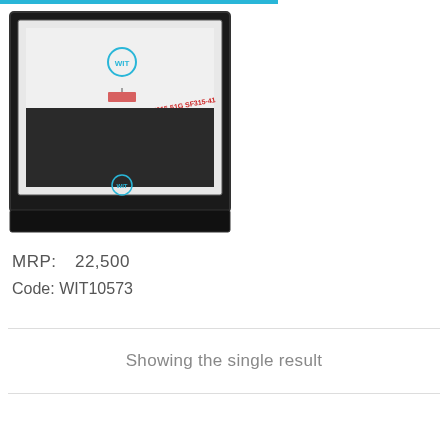[Figure (photo): Product photo of a laptop LCD screen replacement for Acer Swift 3 SF315 SF315-51G SF315-41, labeled 15.6 inch FHD 1920x1080p, with WIT branding]
MRP:  22,500
Code: WIT10573
Showing the single result